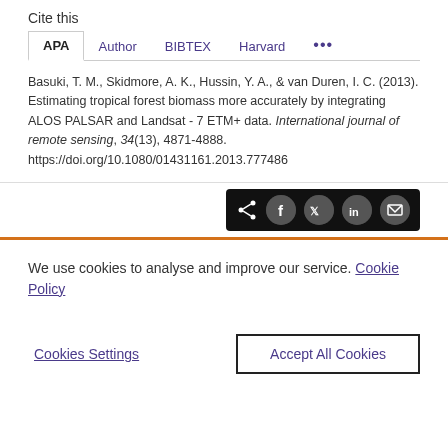Cite this
APA | Author | BIBTEX | Harvard | ...
Basuki, T. M., Skidmore, A. K., Hussin, Y. A., & van Duren, I. C. (2013). Estimating tropical forest biomass more accurately by integrating ALOS PALSAR and Landsat - 7 ETM+ data. International journal of remote sensing, 34(13), 4871-4888. https://doi.org/10.1080/01431161.2013.777486
[Figure (other): Social share bar with icons for share, Facebook, Twitter, LinkedIn, and email on black background]
We use cookies to analyse and improve our service. Cookie Policy
Cookies Settings | Accept All Cookies